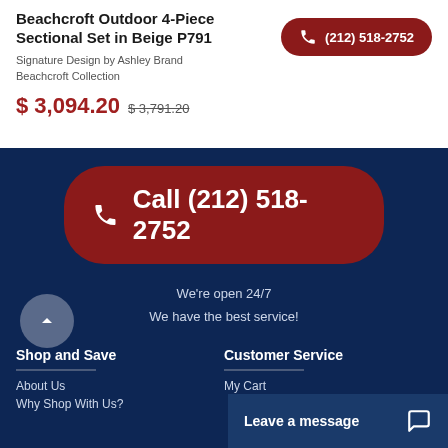Beachcroft Outdoor 4-Piece Sectional Set in Beige P791
Signature Design by Ashley Brand
Beachcroft Collection
$ 3,094.20  $ 3,791.20
(212) 518-2752
Call (212) 518-2752
We're open 24/7
We have the best service!
Shop and Save
Customer Service
About Us
Why Shop With Us?
My Cart
Leave a message